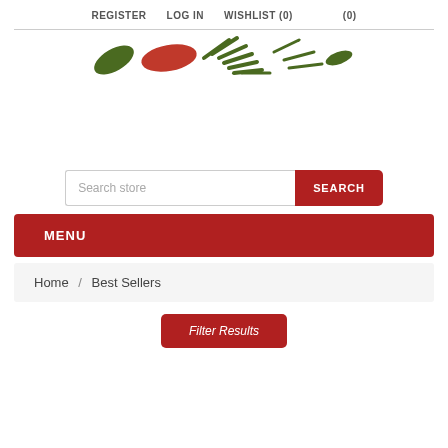REGISTER   LOG IN   WISHLIST (0)   (0)
[Figure (logo): Store logo with green and red decorative elements resembling herbs/spices]
Search store
MENU
Home / Best Sellers
Filter Results